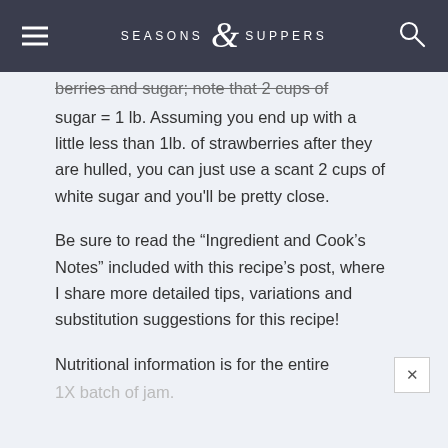SEASONS & SUPPERS
berries and sugar; note that 2 cups of sugar = 1 lb. Assuming you end up with a little less than 1lb. of strawberries after they are hulled, you can just use a scant 2 cups of white sugar and you'll be pretty close.
Be sure to read the “Ingredient and Cook’s Notes” included with this recipe’s post, where I share more detailed tips, variations and substitution suggestions for this recipe!
Nutritional information is for the entire 1X batch of jam.